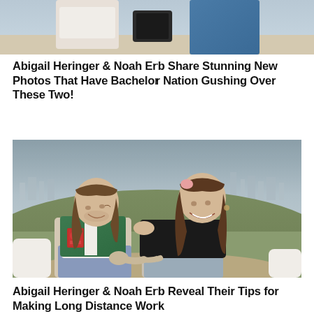[Figure (photo): Partial cropped photo at top of page showing two people outdoors, one in a blue denim jacket]
Abigail Heringer & Noah Erb Share Stunning New Photos That Have Bachelor Nation Gushing Over These Two!
[Figure (photo): Couple photo of a man with long hair wearing a green vest over a graphic t-shirt sitting with a woman with long brown hair wearing a black off-shoulder top, with a city skyline in the background]
Abigail Heringer & Noah Erb Reveal Their Tips for Making Long Distance Work